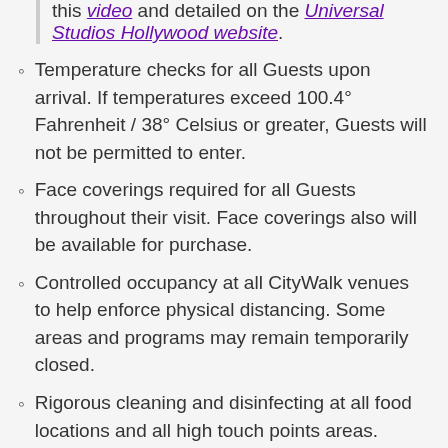this [video] and detailed on the Universal Studios Hollywood website.
Temperature checks for all Guests upon arrival. If temperatures exceed 100.4° Fahrenheit / 38° Celsius or greater, Guests will not be permitted to enter.
Face coverings required for all Guests throughout their visit. Face coverings also will be available for purchase.
Controlled occupancy at all CityWalk venues to help enforce physical distancing. Some areas and programs may remain temporarily closed.
Rigorous cleaning and disinfecting at all food locations and all high touch points areas.
Physical distancing practices at all locations throughout CityWalk.